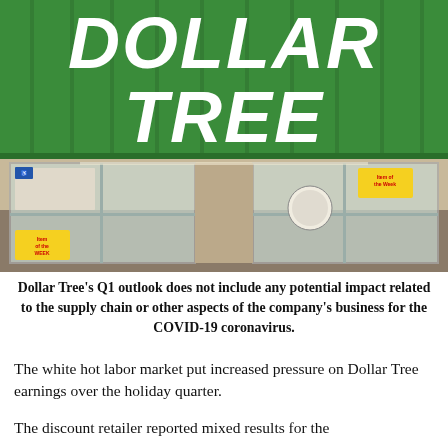[Figure (photo): Exterior photo of a Dollar Tree store showing the large green sign with white bold text reading DOLLAR TREE, and the storefront below with windows displaying promotional posters including 'Item of the Week' signs.]
Dollar Tree's Q1 outlook does not include any potential impact related to the supply chain or other aspects of the company's business for the COVID-19 coronavirus.
The white hot labor market put increased pressure on Dollar Tree earnings over the holiday quarter.
The discount retailer reported mixed results for the